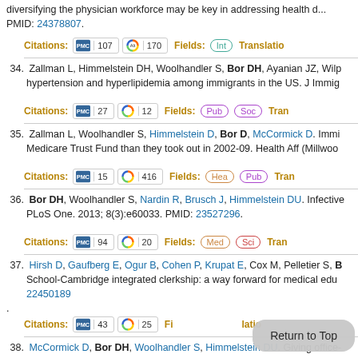diversifying the physician workforce may be key in addressing health d... PMID: 24378807.
Citations: PMC 107 | Altmetric 170 | Fields: Int | Translation
34. Zallman L, Himmelstein DH, Woolhandler S, Bor DH, Ayanian JZ, Wilp... hypertension and hyperlipidemia among immigrants in the US. J Immi...
Citations: PMC 27 | Altmetric 12 | Fields: Pub | Soc | Tran
35. Zallman L, Woolhandler S, Himmelstein D, Bor D, McCormick D. Immi... Medicare Trust Fund than they took out in 2002-09. Health Aff (Millwoo...
Citations: PMC 15 | Altmetric 416 | Fields: Hea | Pub | Tran
36. Bor DH, Woolhandler S, Nardin R, Brusch J, Himmelstein DU. Infective... PLoS One. 2013; 8(3):e60033. PMID: 23527296.
Citations: PMC 94 | Altmetric 20 | Fields: Med | Sci | Tran
37. Hirsh D, Gaufberg E, Ogur B, Cohen P, Krupat E, Cox M, Pelletier S, B... School-Cambridge integrated clerkship: a way forward for medical edu... 22450189.
Citations: PMC 43 | Altmetric 25 | Fi... | lation
38. McCormick D, Bor DH, Woolhandler S, Himmelstein DU. Giving office-...